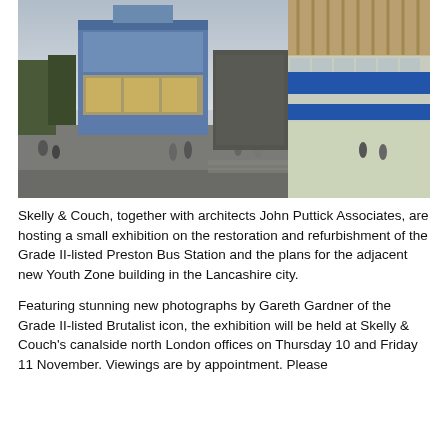[Figure (photo): Architectural rendering of Preston Bus Station and adjacent new Youth Zone building. Shows a wide plaza with pedestrians, a modern blue-clad building on the left, and a large canopied structure on the right with floor-to-ceiling glazing and blue horizontal banding.]
Skelly & Couch, together with architects John Puttick Associates, are hosting a small exhibition on the restoration and refurbishment of the Grade II-listed Preston Bus Station and the plans for the adjacent new Youth Zone building in the Lancashire city.
Featuring stunning new photographs by Gareth Gardner of the Grade II-listed Brutalist icon, the exhibition will be held at Skelly & Couch's canalside north London offices on Thursday 10 and Friday 11 November. Viewings are by appointment. Please